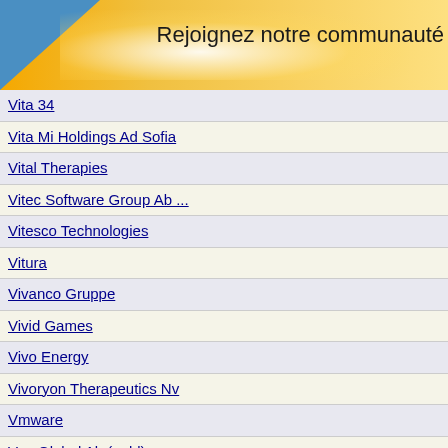Rejoignez notre communauté
Vita 34
Vita Mi Holdings Ad Sofia
Vital Therapies
Vitec Software Group Ab ...
Vitesco Technologies
Vitura
Vivanco Gruppe
Vivid Games
Vivo Energy
Vivoryon Therapeutics Nv
Vmware
Vnv Global Ab (publ)
Vocento
Vodafone
Vodafone